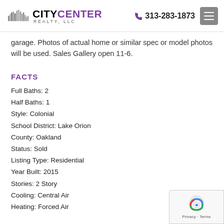City Center Realty, LLC — 313-283-1873
garage. Photos of actual home or similar spec or model photos will be used. Sales Gallery open 11-6.
FACTS
Full Baths: 2
Half Baths: 1
Style: Colonial
School District: Lake Orion
County: Oakland
Status: Sold
Listing Type: Residential
Year Built: 2015
Stories: 2 Story
Cooling: Central Air
Heating: Forced Air